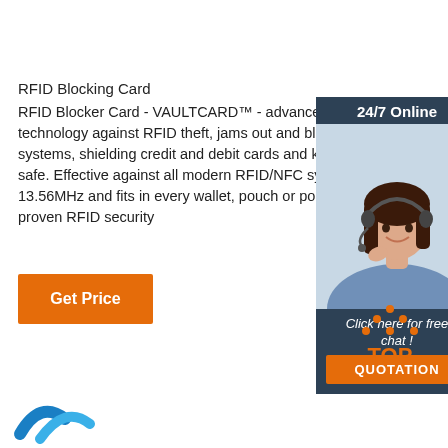RFID Blocking Card
RFID Blocker Card - VAULTCARD™ - advanced protection technology against RFID theft, jams out and blocks systems, shielding credit and debit cards and keeps safe. Effective against all modern RFID/NFC systems 13.56MHz and fits in every wallet, pouch or pocket proven RFID security
[Figure (infographic): Customer service chat widget with '24/7 Online' header, woman wearing headset, 'Click here for free chat!' text, and orange QUOTATION button]
Get Price
[Figure (logo): TOP icon with orange dots arranged in a triangle above orange text reading TOP]
[Figure (logo): Partial blue logo visible at bottom left]